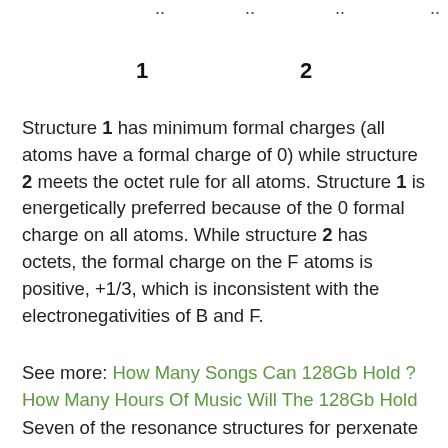[Figure (illustration): Top portion of a chemical structure diagram showing two Lewis structures (Structure 1 and Structure 2) with dots indicating lone pairs, partially cut off at top of page]
1                    2
Structure 1 has minimum formal charges (all atoms have a formal charge of 0) while structure 2 meets the octet rule for all atoms. Structure 1 is energetically preferred because of the 0 formal charge on all atoms. While structure 2 has octets, the formal charge on the F atoms is positive, +1/3, which is inconsistent with the electronegativities of B and F.
See more: How Many Songs Can 128Gb Hold ? How Many Hours Of Music Will The 128Gb Hold
Seven of the resonance structures for perxenate ion